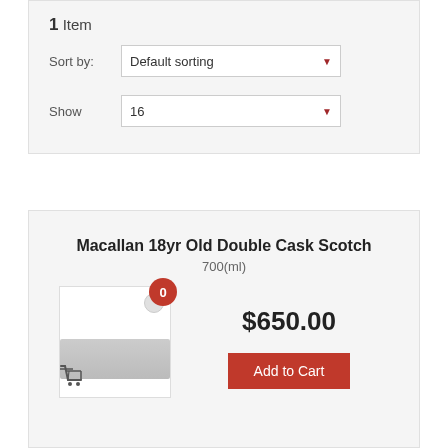1 Item
Sort by: Default sorting
Show 16
Macallan 18yr Old Double Cask Scotch
700(ml)
$650.00
Add to Cart